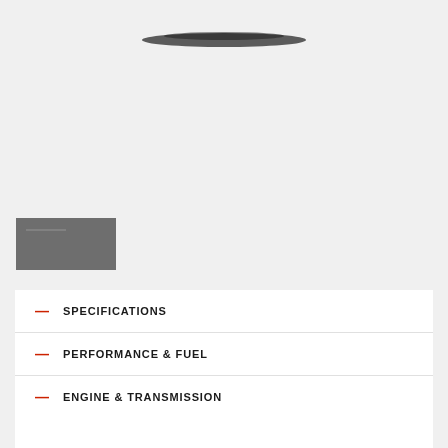[Figure (illustration): Car silhouette or logo — a dark elongated curved shape resembling a car seen from above or a brand emblem]
[Figure (photo): Small grey thumbnail image of a vehicle]
SPECIFICATIONS
PERFORMANCE & FUEL
ENGINE & TRANSMISSION